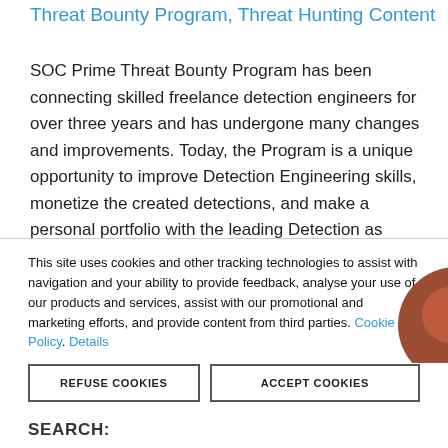Threat Bounty Program, Threat Hunting Content
SOC Prime Threat Bounty Program has been connecting skilled freelance detection engineers for over three years and has undergone many changes and improvements. Today, the Program is a unique opportunity to improve Detection Engineering skills, monetize the created detections, and make a personal portfolio with the leading Detection as Code platform. Introduction to Threat Bounty [...]
READ MORE ›
This site uses cookies and other tracking technologies to assist with navigation and your ability to provide feedback, analyse your use of our products and services, assist with our promotional and marketing efforts, and provide content from third parties. Cookie Policy. Details
REFUSE COOKIES
ACCEPT COOKIES
SEARCH: